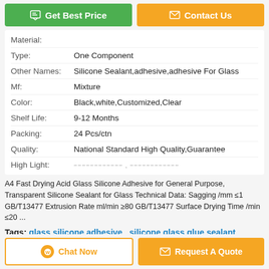[Figure (other): Get Best Price button (green) and Contact Us button (orange)]
| Field | Value |
| --- | --- |
| Material: |  |
| Type: | One Component |
| Other Names: | Silicone Sealant,adhesive,adhesive For Glass |
| Mf: | Mixture |
| Color: | Black,white,Customized,Clear |
| Shelf Life: | 9-12 Months |
| Packing: | 24 Pcs/ctn |
| Quality: | National Standard High Quality,Guarantee |
| High Light: |  |
A4 Fast Drying Acid Glass Silicone Adhesive for General Purpose, Transparent Silicone Sealant for Glass Technical Data: Sagging /mm ≤1 GB/T13477 Extrusion Rate ml/min ≥80 GB/T13477 Surface Drying Time /min ≤20 ...
Tags: glass silicone adhesive , silicone glass glue sealant , glass caulking sealant
[Figure (other): Chat Now button and Request A Quote button at the bottom]